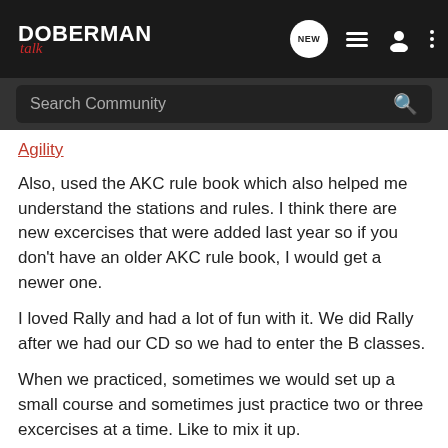DOBERMAN talk
Search Community
Agility
Also, used the AKC rule book which also helped me understand the stations and rules. I think there are new excercises that were added last year so if you don't have an older AKC rule book, I would get a newer one.
I loved Rally and had a lot of fun with it. We did Rally after we had our CD so we had to enter the B classes.
When we practiced, sometimes we would set up a small course and sometimes just practice two or three excercises at a time. Like to mix it up.
Best of luck and have fun!